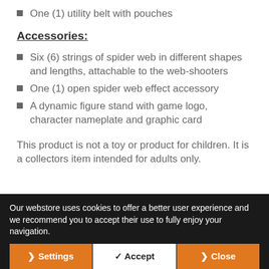One (1) utility belt with pouches
Accessories:
Six (6) strings of spider web in different shapes and lengths, attachable to the web-shooters
One (1) open spider web effect accessory
A dynamic figure stand with game logo, character nameplate and graphic card
This product is not a toy or product for children. It is a collectors item intended for adults only.
Our webstore uses cookies to offer a better user experience and we recommend you to accept their use to fully enjoy your navigation.